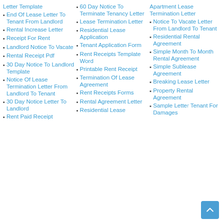Letter Template
End Of Lease Letter To Tenant From Landlord
Rental Increase Letter
Receipt For Rent
Landlord Notice To Vacate
Rental Receipt Pdf
30 Day Notice To Landlord Template
Notice Of Lease Termination Letter From Landlord To Tenant
30 Day Notice Letter To Landlord
Rent Paid Receipt
60 Day Notice To Terminate Tenancy Letter
Lease Termination Letter
Residential Lease Application
Tenant Application Form
Rent Receipts Template Word
Printable Rent Receipt
Termination Of Lease Agreement
Rent Receipts Forms
Rental Agreement Letter
Residential Lease
Apartment Lease Termination Letter
Notice To Vacate Letter From Landlord To Tenant
Residential Rental Agreement
Simple Month To Month Rental Agreement
Simple Sublease Agreement
Breaking Lease Letter
Property Rental Agreement
Sample Letter Tenant For Damages